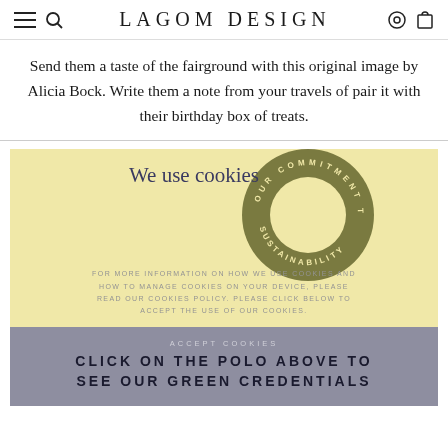LAGOM DESIGN
Send them a taste of the fairground with this original image by Alicia Bock. Write them a note from your travels of pair it with their birthday box of treats.
[Figure (infographic): Cookie consent overlay on a yellow background with a polo/donut ring graphic in olive green. Heading says 'We use cookies'. Body text describes cookie policy. Accept button at bottom reading 'ACCEPT COOKIES / CLICK ON THE POLO ABOVE TO SEE OUR GREEN CREDENTIALS'.]